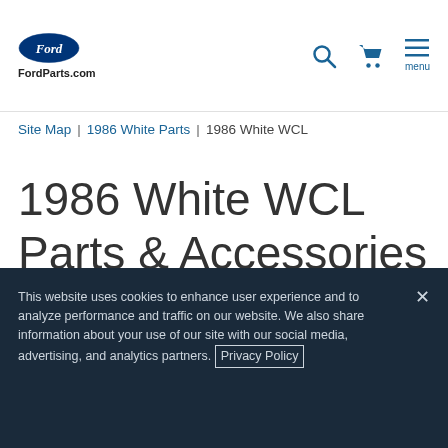[Figure (logo): Ford oval blue logo with 'FordParts.com' text below]
Site Map | 1986 White Parts | 1986 White WCL
1986 White WCL Parts & Accessories
This website uses cookies to enhance user experience and to analyze performance and traffic on our website. We also share information about your use of our site with our social media, advertising, and analytics partners. Privacy Policy